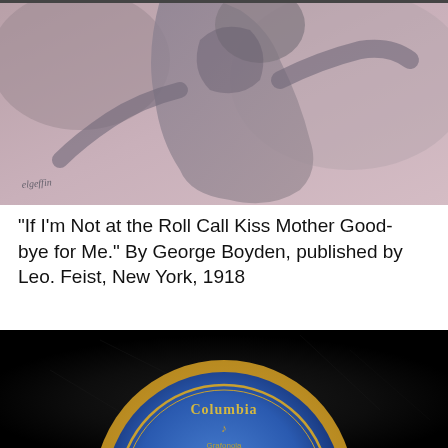[Figure (illustration): Cropped illustration showing a soldier or figure in military attire, with muted purple/brown tones and an artist signature in the lower left corner.]
"If I'm Not at the Roll Call Kiss Mother Good-bye for Me." By George Boyden, published by Leo. Feist, New York, 1918
[Figure (photo): Close-up photograph of a vintage Columbia Grafonola vinyl record, showing the blue and gold Columbia label in the center against the black record surface.]